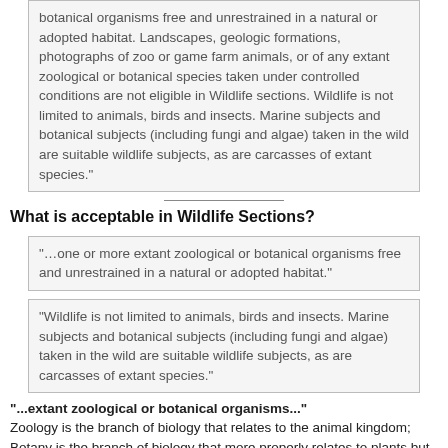botanical organisms free and unrestrained in a natural or adopted habitat. Landscapes, geologic formations, photographs of zoo or game farm animals, or of any extant zoological or botanical species taken under controlled conditions are not eligible in Wildlife sections. Wildlife is not limited to animals, birds and insects. Marine subjects and botanical subjects (including fungi and algae) taken in the wild are suitable wildlife subjects, as are carcasses of extant species."
What is acceptable in Wildlife Sections?
"…one or more extant zoological or botanical organisms free and unrestrained in a natural or adopted habitat."
"Wildlife is not limited to animals, birds and insects. Marine subjects and botanical subjects (including fungi and algae) taken in the wild are suitable wildlife subjects, as are carcasses of extant species."
"...extant zoological or botanical organisms..."
Zoology is the branch of biology that relates to the animal kingdom; Botany is the branch of biology that more properly relates to plants but that is also accepted (e.g. by the